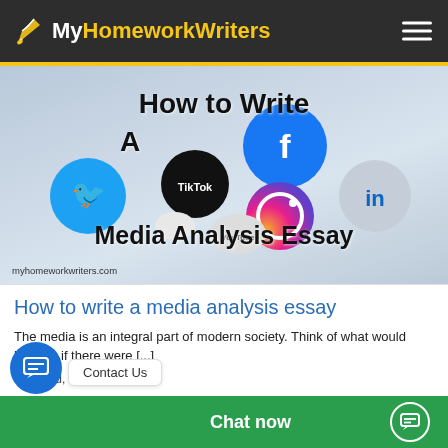MyHomeworkWriters
[Figure (illustration): Social media icons (Twitter, TikTok, Facebook, Instagram, LinkedIn, YouTube) floating on a light blue/grey gradient background with bold text overlay reading 'How to Write A Media Analysis Essay'. URL myhomeworkwriters.com shown at bottom.]
How to write a media analysis essay
The media is an integral part of modern society. Think of what would happen if there were [...]
Feb 23rd, 2022